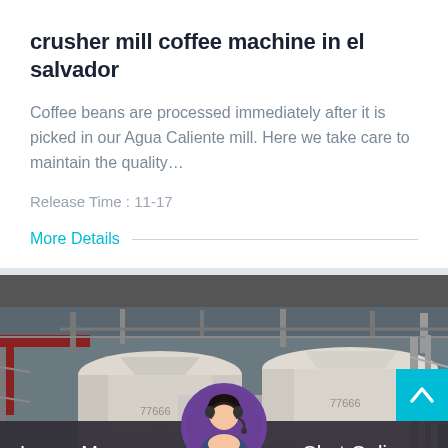crusher mill coffee machine in el salvador
Coffee beans are processed immediately after it is picked in our Agua Caliente mill. Here we take care to maintain the quality…
Release Time : 11-17
More Details
[Figure (photo): Industrial crusher mill machines in a factory setting, large white cylindrical mill units with scaffolding and industrial structure in background]
Leave Message   Chat Online